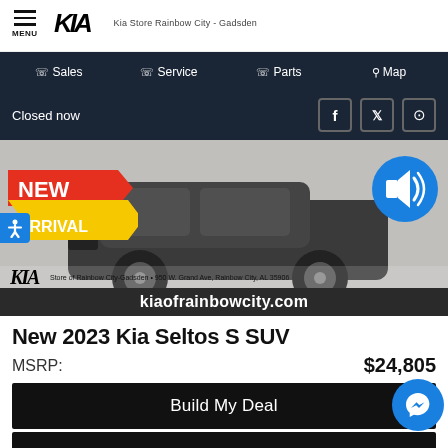MENU | KIA | Kia Store Rainbow City - Gadsden
Sales  Service  Parts  Map
Closed now
[Figure (photo): Kia Seltos S SUV dark colored crossover with NEW ARRIVAL badge, kiaofrainbowcity.com website bar, and sound icon]
New 2023 Kia Seltos S SUV
MSRP: $24,805
Build My Deal
Express Payment